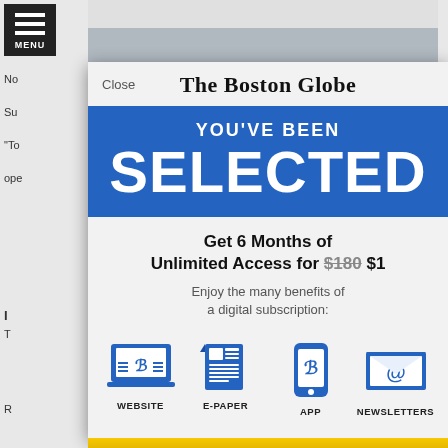[Figure (screenshot): Boston Globe subscription modal overlay on a newspaper website. Shows 'YOU'VE BEEN SELECTED' in blue banner, offer for 6 months unlimited access for $1 (crossed out $180), and icons for Website, E-Paper, App, Newsletters.]